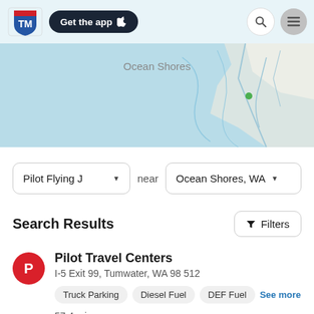[Figure (screenshot): App header bar with TM logo, Get the app button with Apple icon, search icon, and menu icon on light blue background]
[Figure (map): Map showing Ocean Shores area in Washington state with light blue water and road lines]
Pilot Flying J near Ocean Shores, WA
Search Results
Pilot Travel Centers
I-5 Exit 99, Tumwater, WA 98512
Truck Parking   Diesel Fuel   DEF Fuel   See more
57.4 mi